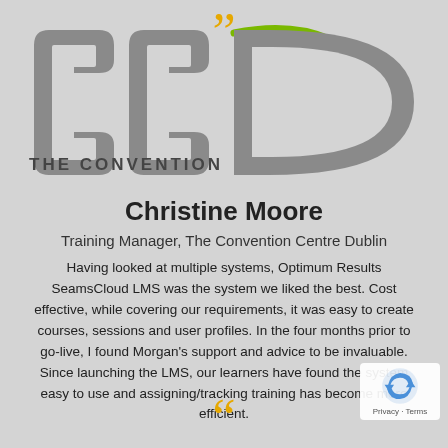[Figure (logo): CCD The Convention Centre Dublin logo — large grey stylized letters CCD with green curved lines accent, and text THE CONVENTION below]
Christine Moore
Training Manager, The Convention Centre Dublin
Having looked at multiple systems, Optimum Results SeamsCloud LMS was the system we liked the best. Cost effective, while covering our requirements, it was easy to create courses, sessions and user profiles. In the four months prior to go-live, I found Morgan's support and advice to be invaluable. Since launching the LMS, our learners have found the system easy to use and assigning/tracking training has become more efficient.